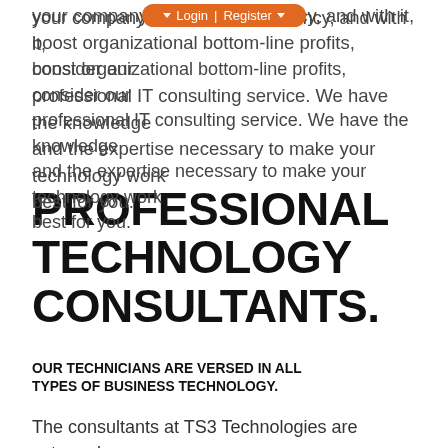[Figure (screenshot): Navigation bar with Login and Register buttons on orange pill-shaped background]
your company is looking for efficiency, and with it, boost organizational bottom-line profits, consider our professional IT consulting service. We have the knowledge and the expertise necessary to make your technology work best for you.
PROFESSIONAL TECHNOLOGY CONSULTANTS.
OUR TECHNICIANS ARE VERSED IN ALL TYPES OF BUSINESS TECHNOLOGY.
The consultants at TS3 Technologies are extremely proficient at working with you to find business-minded solutions for any IT-related situation. We will create a customized IT roadmap that incorporates all types of information, such as:
Organizational computing requirements.